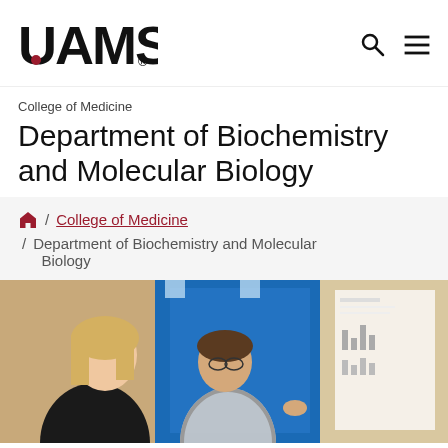[Figure (logo): UAMS logo with red dot]
College of Medicine
Department of Biochemistry and Molecular Biology
/ College of Medicine / Department of Biochemistry and Molecular Biology
[Figure (photo): Two women looking at a research poster in a blue-lit room]